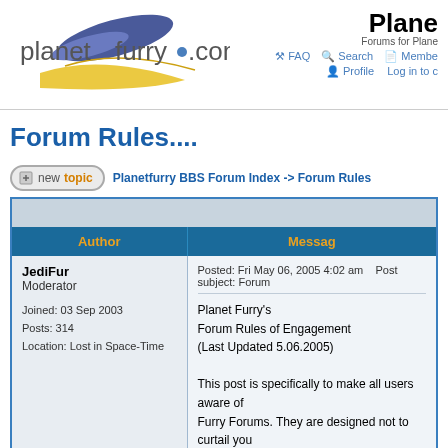planetfurry.com | Planet Furry | Forums for Planet Furry | FAQ | Search | Members | Profile | Log in to c...
Forum Rules....
Planetfurry BBS Forum Index -> Forum Rules
| Author | Message |
| --- | --- |
| JediFur
Moderator

Joined: 03 Sep 2003
Posts: 314
Location: Lost in Space-Time | Posted: Fri May 06, 2005 4:02 am   Post subject: Forum...

Planet Furry's
Forum Rules of Engagement
(Last Updated 5.06.2005)

This post is specifically to make all users aware of...
Furry Forums. They are designed not to curtail you...
rights of all. |